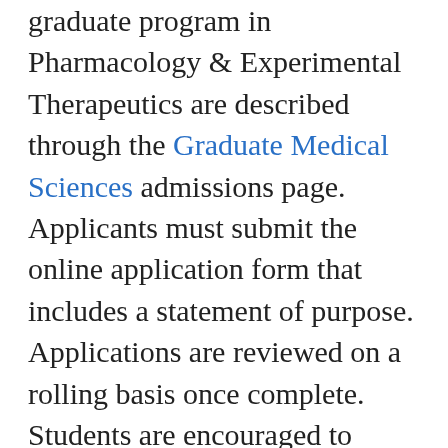graduate program in Pharmacology & Experimental Therapeutics are described through the Graduate Medical Sciences admissions page. Applicants must submit the online application form that includes a statement of purpose. Applications are reviewed on a rolling basis once complete. Students are encouraged to arrange for submission of official transcripts as well as two letters of recommendation well in advance of the due date of December 1, which is when the application portal will also GRE scores are also required